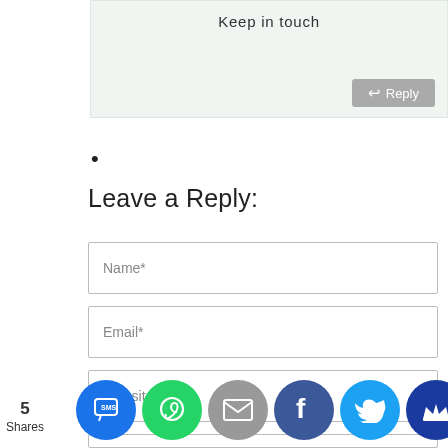Keep in touch
[Figure (screenshot): Comment text area with light green background and Reply button]
•
Leave a Reply:
[Figure (screenshot): Web form with Name*, Email*, Website input fields]
5 Shares
[Figure (infographic): Social sharing icons: SMS/site, WhatsApp, Email, Facebook, Twitter, Crown/Monarch]